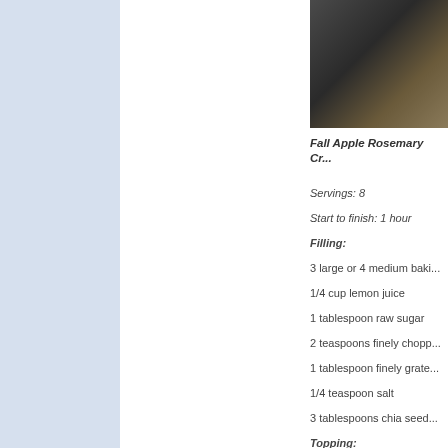[Figure (photo): Close-up photo of Fall Apple Rosemary Crisp dish in a blue ceramic baking dish, showing golden brown crumble topping]
Fall Apple Rosemary Cr...
Servings: 8
Start to finish: 1 hour
Filling:
3 large or 4 medium baki...
1/4 cup lemon juice
1 tablespoon raw sugar
2 teaspoons finely chopp...
1 tablespoon finely grate...
1/4 teaspoon salt
3 tablespoons chia seed...
Topping:
3 tablespoons butter, sof...